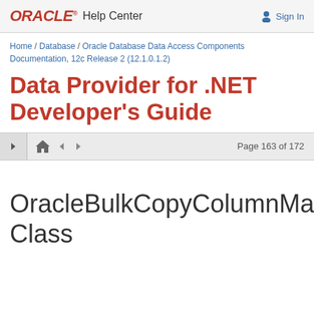ORACLE Help Center  Sign In
Home / Database / Oracle Database Data Access Components Documentation, 12c Release 2 (12.1.0.1.2)
Data Provider for .NET Developer's Guide
Page 163 of 172
OracleBulkCopyColumnMapping Class